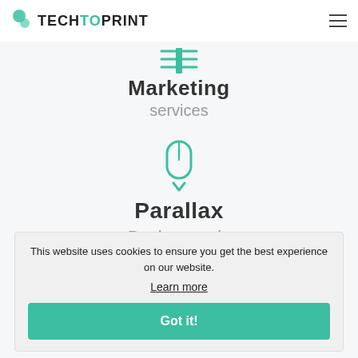TECHTOPRINT
[Figure (illustration): Teal marketing/banner icon with horizontal lines and a vertical element]
Marketing
services
[Figure (illustration): Teal computer mouse icon with a scroll indicator arrow below]
Parallax
Backgrounds
This website uses cookies to ensure you get the best experience on our website. Learn more Got it!